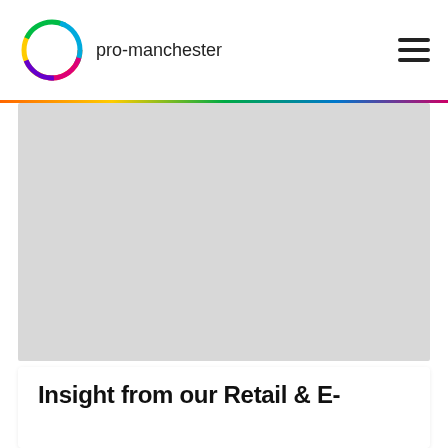pro-manchester
[Figure (photo): Large placeholder image area with light grey background, representing a photo banner for the article]
Insight from our Retail & E-Commerce board